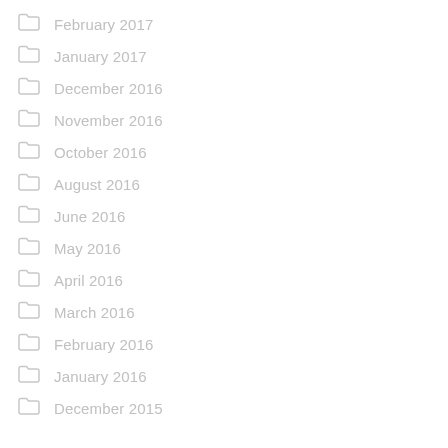February 2017
January 2017
December 2016
November 2016
October 2016
August 2016
June 2016
May 2016
April 2016
March 2016
February 2016
January 2016
December 2015